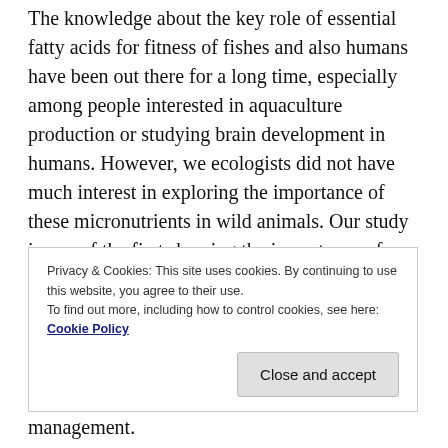The knowledge about the key role of essential fatty acids for fitness of fishes and also humans have been out there for a long time, especially among people interested in aquaculture production or studying brain development in humans. However, we ecologists did not have much interest in exploring the importance of these micronutrients in wild animals. Our study is one of the first showing the importance of essential fatty acids for wild fishes and calls for more research into this topic in the context of wild animals feeding on their natural prey. Our paper is relevant for everyone who is interested in how changes at the ecosystem level
Privacy & Cookies: This site uses cookies. By continuing to use this website, you agree to their use.
To find out more, including how to control cookies, see here: Cookie Policy
management.